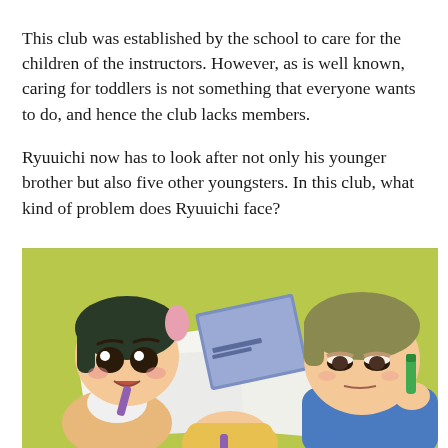This club was established by the school to care for the children of the instructors. However, as is well known, caring for toddlers is not something that everyone wants to do, and hence the club lacks members.
Ryuuichi now has to look after not only his younger brother but also five other youngsters. In this club, what kind of problem does Ryuuichi face?
[Figure (illustration): Anime illustration showing two young chibi-style children at a table with papers, crayons/markers, and a blue notebook. A dark-haired girl on the left looks annoyed, holding a marker to her mouth. A brown-haired older boy on the right looks tired/bored holding a green marker. A third character (blonde) is partially visible at the bottom center.]